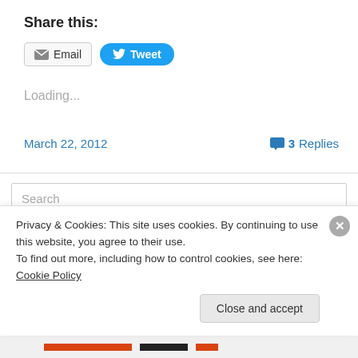Share this:
[Figure (screenshot): Email and Tweet share buttons]
Loading...
March 22, 2012
3 Replies
Search
Privacy & Cookies: This site uses cookies. By continuing to use this website, you agree to their use. To find out more, including how to control cookies, see here: Cookie Policy
Close and accept